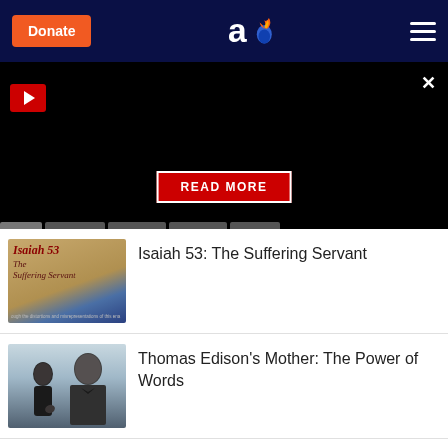[Figure (screenshot): Website header with orange Donate button, 'ao' logo with flame, and hamburger menu on dark navy background]
[Figure (screenshot): Black banner area with red play button, close X, READ MORE red button, and tab navigation bar at bottom]
[Figure (illustration): Thumbnail for Isaiah 53: The Suffering Servant article, showing parchment-style background with decorative text and blue stripe]
Isaiah 53: The Suffering Servant
[Figure (photo): Black and white thumbnail showing a woman and a man (Thomas Edison) in formal attire]
Thomas Edison's Mother: The Power of Words